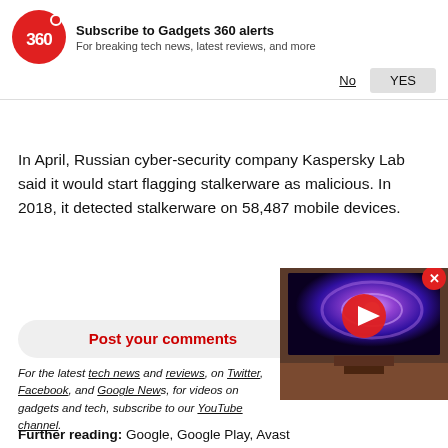[Figure (logo): Gadgets 360 red circular logo with '360' text]
Subscribe to Gadgets 360 alerts
For breaking tech news, latest reviews, and more
No   YES
In April, Russian cyber-security company Kaspersky Lab said it would start flagging stalkerware as malicious. In 2018, it detected stalkerware on 58,487 mobile devices.
Post your comments
For the latest tech news and reviews, on Twitter, Facebook, and Google News, for videos on gadgets and tech, subscribe to our YouTube channel.
[Figure (screenshot): Video player overlay showing a TV with galaxy wallpaper and a red play button]
Further reading: Google, Google Play, Avast